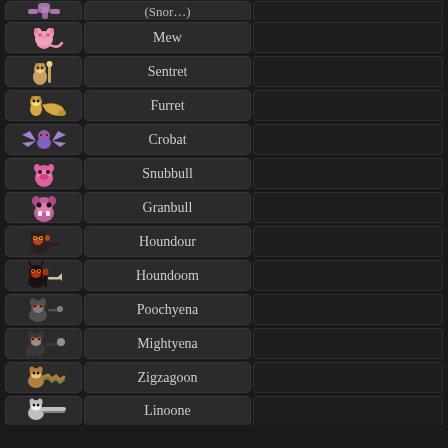(partial top entry)
Mew
Sentret
Furret
Crobat
Snubbull
Granbull
Houndour
Houndoom
Poochyena
Mightyena
Zigzagoon
Linoone